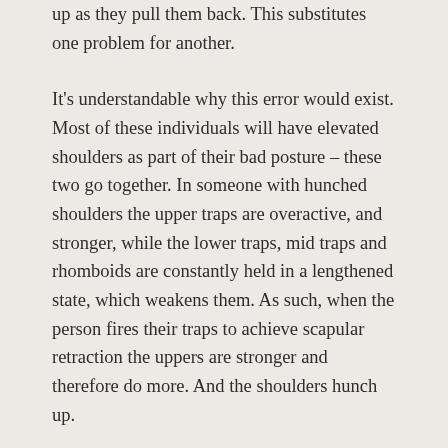up as they pull them back. This substitutes one problem for another.
It's understandable why this error would exist. Most of these individuals will have elevated shoulders as part of their bad posture – these two go together. In someone with hunched shoulders the upper traps are overactive, and stronger, while the lower traps, mid traps and rhomboids are constantly held in a lengthened state, which weakens them. As such, when the person fires their traps to achieve scapular retraction the uppers are stronger and therefore do more. And the shoulders hunch up.
Obviously shoulder focus on scapular retraction, the...